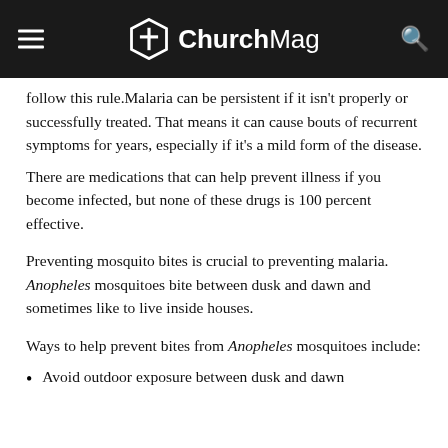ChurchMag
follow this rule.Malaria can be persistent if it isn't properly or successfully treated. That means it can cause bouts of recurrent symptoms for years, especially if it's a mild form of the disease.
There are medications that can help prevent illness if you become infected, but none of these drugs is 100 percent effective.
Preventing mosquito bites is crucial to preventing malaria. Anopheles mosquitoes bite between dusk and dawn and sometimes like to live inside houses.
Ways to help prevent bites from Anopheles mosquitoes include:
Avoid outdoor exposure between dusk and dawn